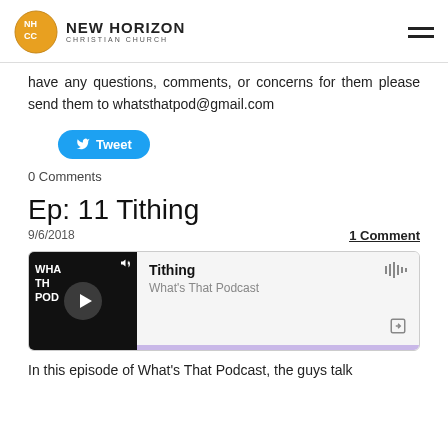NEW HORIZON CHRISTIAN CHURCH
have any questions, comments, or concerns for them please send them to whatsthatpod@gmail.com
[Figure (other): Tweet button (Twitter/X share button)]
0 Comments
Ep: 11 Tithing
9/6/2018
1 Comment
[Figure (other): Podcast player widget showing episode 'Tithing' from What's That Podcast with play button, waveform icon, share icon, and purple progress bar]
In this episode of What's That Podcast, the guys talk